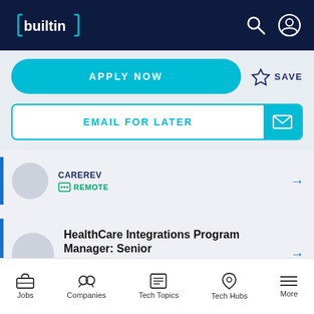[Figure (screenshot): BuiltIn website header with logo on dark navy background and search/user icons on the right]
APPLY NOW
SAVE
EMAIL FOR LATER
CAREREV
REMOTE
HealthCare Integrations Program Manager: Senior
CAREREV
REMOTE
Jobs  Companies  Tech Topics  Tech Hubs  More